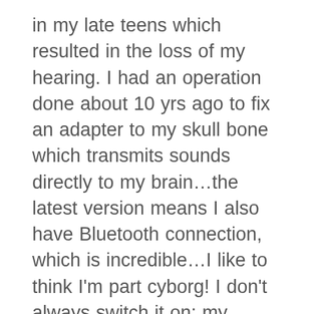in my late teens which resulted in the loss of my hearing. I had an operation done about 10 yrs ago to fix an adapter to my skull bone which transmits sounds directly to my brain…the latest version means I also have Bluetooth connection, which is incredible…I like to think I'm part cyborg! I don't always switch it on; my husband snores and the kids can be loud!! I'm also a pretty good lip reader. I don't always get it right… sometimes I get it hilariously wrong, sometimes embarrassingly so – it's hard to distinguish between what I hear, what I 'read' and what my brain